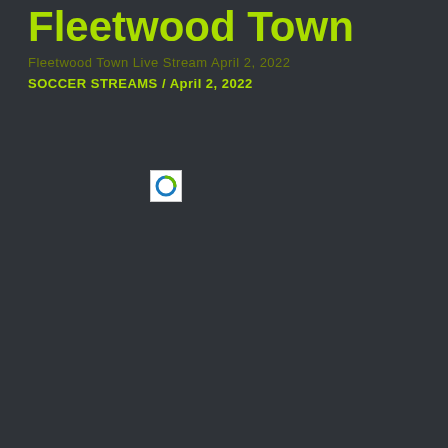Fleetwood Town
SOCCER STREAMS / April 2, 2022
[Figure (logo): Small square icon with a circular loading/spinner graphic in blue and green on white background]